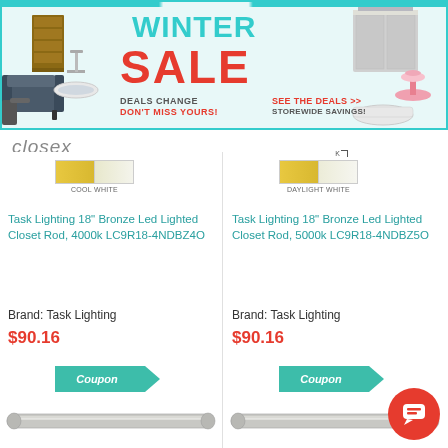[Figure (infographic): Winter Sale banner with furniture/bathroom images, teal and red text, coupon call to action]
closex
[Figure (infographic): Color swatch showing Cool White temperature]
[Figure (infographic): Color swatch showing Daylight White temperature]
Task Lighting 18" Bronze Led Lighted Closet Rod, 4000k LC9R18-4NDBZ4O
Task Lighting 18" Bronze Led Lighted Closet Rod, 5000k LC9R18-4NDBZ5O
Brand: Task Lighting
Brand: Task Lighting
$90.16
$90.16
[Figure (infographic): Coupon ribbon banner (left product)]
[Figure (infographic): Coupon ribbon banner (right product)]
[Figure (photo): Task Lighting closet rod product image, left]
[Figure (photo): Task Lighting closet rod product image, right]
[Figure (other): Red circular chat support button with speech bubble icon]